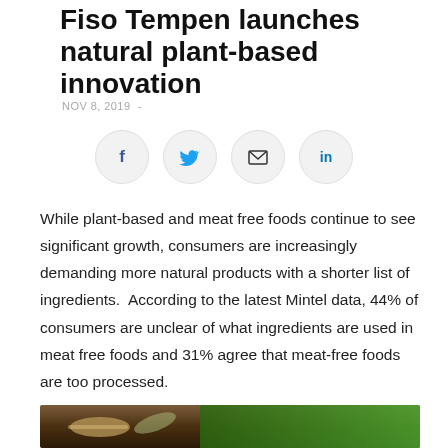Fiso Tempen launches natural plant-based innovation
NOV 8, 2019 -
[Figure (infographic): Social sharing buttons: Facebook (f), Twitter bird, Email envelope, LinkedIn (in)]
While plant-based and meat free foods continue to see significant growth, consumers are increasingly demanding more natural products with a shorter list of ingredients. According to the latest Mintel data, 44% of consumers are unclear of what ingredients are used in meat free foods and 31% agree that meat-free foods are too processed.
[Figure (photo): Photo of spoons and green vegetables/herbs on a wooden surface]